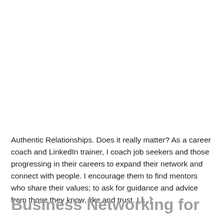Authentic Relationships. Does it really matter? As a career coach and LinkedIn trainer, I coach job seekers and those progressing in their careers to expand their network and connect with people. I encourage them to find mentors who share their values; to ask for guidance and advice from those they know, like and trust. I [...]
Business Networking for